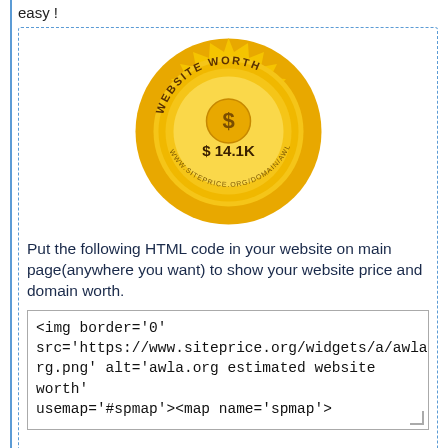easy !
[Figure (illustration): Gold seal/badge with 'WEBSITE WORTH' text around the border and '$ 14.1K' in the center]
Put the following HTML code in your website on main page(anywhere you want) to show your website price and domain worth.
<img border='0' src='https://www.siteprice.org/widgets/a/awla.org.png' alt='awla.org estimated website worth' usemap='#spmap'><map name='spmap'>
Sell my website
Sell my domain
If you own this website and want to sell on siteprice.org, just register and verificate it.